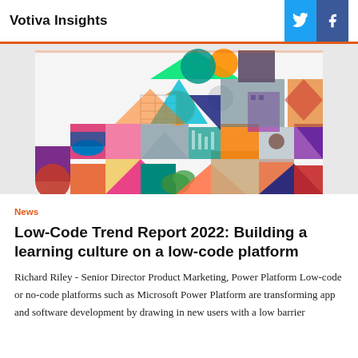Votiva Insights
[Figure (illustration): Colorful mosaic/collage illustration in a triangular pyramid shape made up of geometric shapes (circles, triangles, rectangles), photos of people, and abstract patterns in orange, teal, purple, green, pink, navy, and red tones on a light gray background.]
News
Low-Code Trend Report 2022: Building a learning culture on a low-code platform
Richard Riley - Senior Director Product Marketing, Power Platform Low-code or no-code platforms such as Microsoft Power Platform are transforming app and software development by drawing in new users with a low barrier